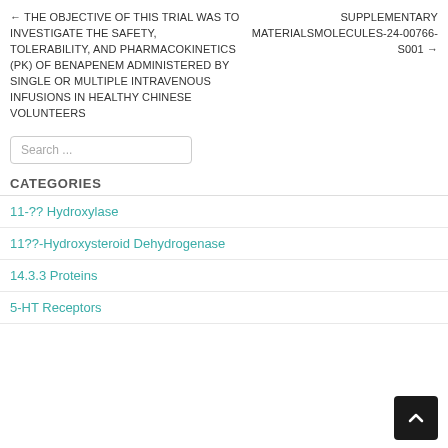← THE OBJECTIVE OF THIS TRIAL WAS TO INVESTIGATE THE SAFETY, TOLERABILITY, AND PHARMACOKINETICS (PK) OF BENAPENEM ADMINISTERED BY SINGLE OR MULTIPLE INTRAVENOUS INFUSIONS IN HEALTHY CHINESE VOLUNTEERS
SUPPLEMENTARY MATERIALSMOLECULES-24-00766-S001 →
Search ...
CATEGORIES
11-?? Hydroxylase
11??-Hydroxysteroid Dehydrogenase
14.3.3 Proteins
5-HT Receptors